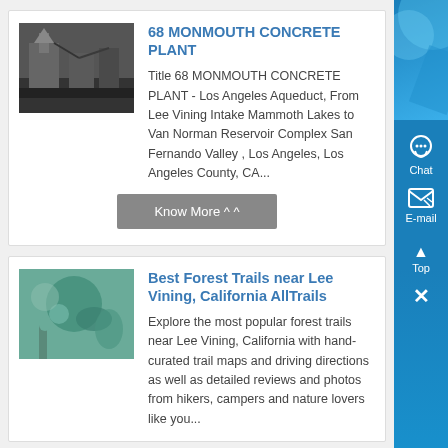68 MONMOUTH CONCRETE PLANT
Title 68 MONMOUTH CONCRETE PLANT - Los Angeles Aqueduct, From Lee Vining Intake Mammoth Lakes to Van Norman Reservoir Complex San Fernando Valley , Los Angeles, Los Angeles County, CA...
Best Forest Trails near Lee Vining, California AllTrails
Explore the most popular forest trails near Lee Vining, California with hand-curated trail maps and driving directions as well as detailed reviews and photos from hikers, campers and nature lovers like you...